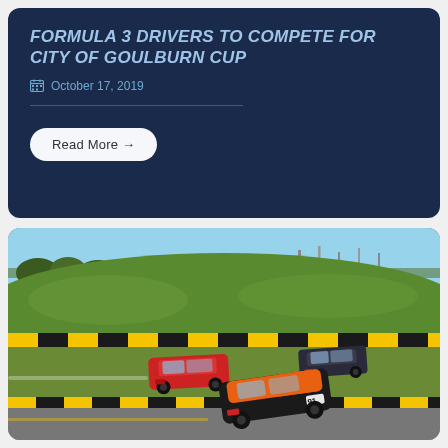FORMULA 3 DRIVERS TO COMPETE FOR CITY OF GOULBURN CUP
October 17, 2019
Read More →
[Figure (photo): Racing cars on a circuit track. Three cars visible: an orange and black car in the foreground (number 91), a red car in the mid-ground, and a dark car further back. Green grassy hill with trees and infrastructure in the background. Yellow and black chevron barriers on the track edge.]